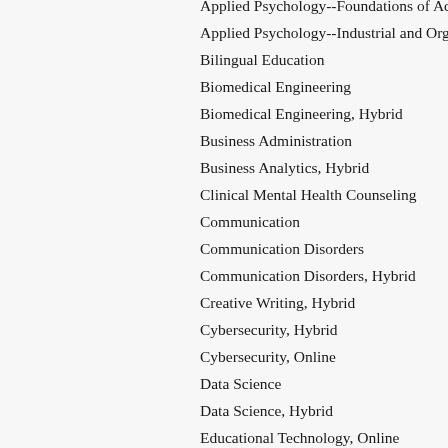Applied Psychology--Foundations of Advanced...
Applied Psychology--Industrial and Organizatio...
Bilingual Education
Biomedical Engineering
Biomedical Engineering, Hybrid
Business Administration
Business Analytics, Hybrid
Clinical Mental Health Counseling
Communication
Communication Disorders
Communication Disorders, Hybrid
Creative Writing, Hybrid
Cybersecurity, Hybrid
Cybersecurity, Online
Data Science
Data Science, Hybrid
Educational Technology, Online
Electrical and Computer Engineering
Elementary Education
Entry to Practice Nursing (MEPN)
Family Nurse Practitioner
Family Studies